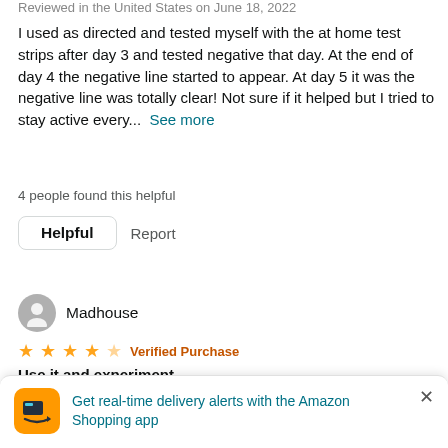Reviewed in the United States on June 18, 2022
I used as directed and tested myself with the at home test strips after day 3 and tested negative that day. At the end of day 4 the negative line started to appear. At day 5 it was the negative line was totally clear! Not sure if it helped but I tried to stay active every...  See more
4 people found this helpful
Helpful   Report
Madhouse
★★★★☆  Verified Purchase
Use it and experiment
Reviewed in the United States on May 21, 2021
This product works, but I used in combination with Certo the 2nd and 3rd day. I am 45, 6ft tall 198 lbs and I'm not sure of metabolism because I have been lifting weights for 8 months
Get real-time delivery alerts with the Amazon Shopping app